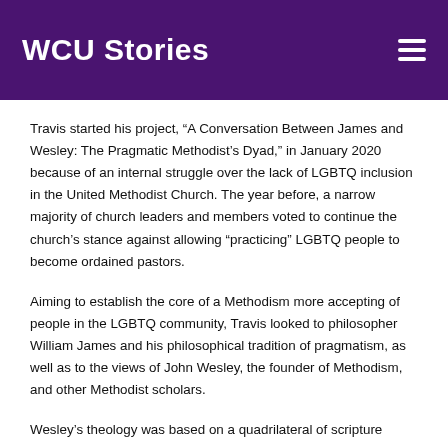WCU Stories
Travis started his project, “A Conversation Between James and Wesley: The Pragmatic Methodist’s Dyad,” in January 2020 because of an internal struggle over the lack of LGBTQ inclusion in the United Methodist Church. The year before, a narrow majority of church leaders and members voted to continue the church’s stance against allowing “practicing” LGBTQ people to become ordained pastors.
Aiming to establish the core of a Methodism more accepting of people in the LGBTQ community, Travis looked to philosopher William James and his philosophical tradition of pragmatism, as well as to the views of John Wesley, the founder of Methodism, and other Methodist scholars.
Wesley’s theology was based on a quadrilateral of scripture